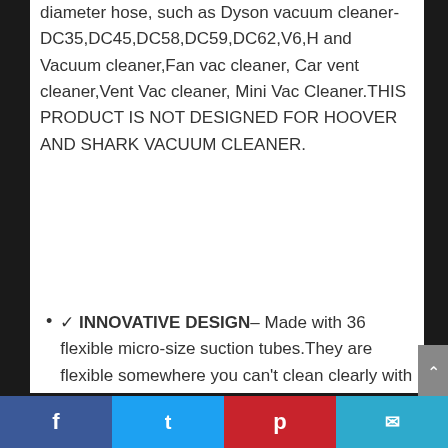diameter hose, such as Dyson vacuum cleaner-DC35,DC45,DC58,DC59,DC62,V6,H and Vacuum cleaner,Fan vac cleaner, Car vent cleaner,Vent Vac cleaner, Mini Vac Cleaner.THIS PRODUCT IS NOT DESIGNED FOR HOOVER AND SHARK VACUUM CLEANER.
✓ INNOVATIVE DESIGN– Made with 36 flexible micro-size suction tubes.They are flexible somewhere you can't clean clearly with normal tools, but not with this one, you can use it to clean your draw, corners
Facebook | Twitter | Pinterest | Email